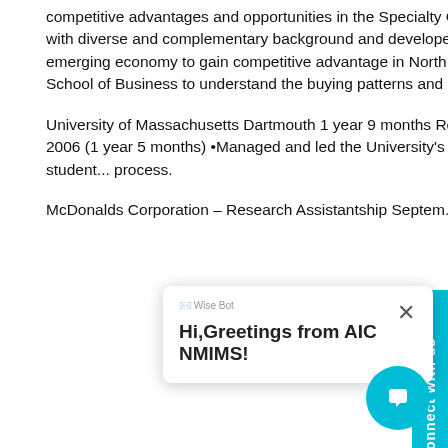competitive advantages and opportunities in the Specialty Chemical Industry identified through market research reports. Selected partners with diverse and complementary background and developed detailed business plan. •Sourced and negotiated pricing with suppliers from the emerging economy to gain competitive advantage in North American market. •Conducted market research in collaboration with The Ross School of Business to understand the buying patterns and preferences of the most attractive market segment.
University of Massachusetts Dartmouth 1 year 9 months Resident Computer Consultant, Network Operation Center January 2005 – May 2006 (1 year 5 months) •Managed and led the University's residential IT network. •Provided maintenance support to faculty and reduced turnaround time for student process.
McDonalds Corporation – Research Assistantship September 2004 – May 2005 (9 months) Website Development for Disabled Students.